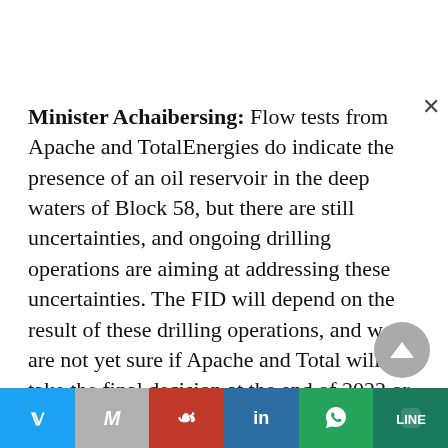Minister Achaibersing: Flow tests from Apache and TotalEnergies do indicate the presence of an oil reservoir in the deep waters of Block 58, but there are still uncertainties, and ongoing drilling operations are aiming at addressing these uncertainties. The FID will depend on the result of these drilling operations, and we are not yet sure if Apache and Total will take the final decision at the end of 2022 or in early 2023.